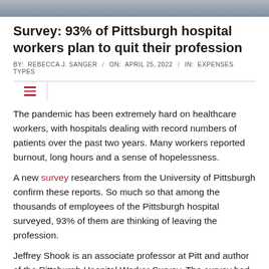[Figure (photo): Partial photo strip at top of page, appears to show a healthcare or hospital scene]
Survey: 93% of Pittsburgh hospital workers plan to quit their profession
BY: REBECCA J. SANGER / ON: APRIL 25, 2022 / IN: EXPENSES TYPES
The pandemic has been extremely hard on healthcare workers, with hospitals dealing with record numbers of patients over the past two years. Many workers reported burnout, long hours and a sense of hopelessness.
A new survey researchers from the University of Pittsburgh confirm these reports. So much so that among the thousands of employees of the Pittsburgh hospital surveyed, 93% of them are thinking of leaving the profession.
Jeffrey Shook is an associate professor at Pitt and author of the Pittsburgh Hospital Worker Survey. The survey had 2,253 participants, who represented hospital workers (excluding doctors)